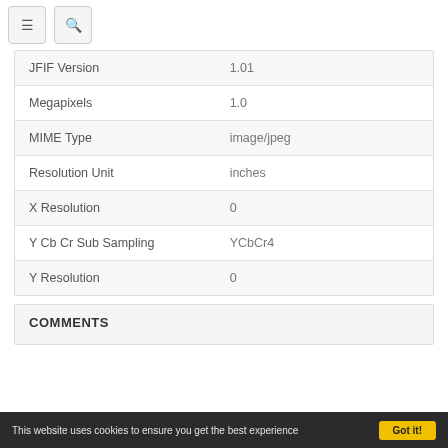[Figure (screenshot): Navigation bar with hamburger menu icon button and search icon button]
| Property | Value |
| --- | --- |
| JFIF Version | 1.01 |
| Megapixels | 1.0 |
| MIME Type | image/jpeg |
| Resolution Unit | inches |
| X Resolution | 0 |
| Y Cb Cr Sub Sampling | YCbCr4 |
| Y Resolution | 0 |
COMMENTS
This website uses cookies to ensure you get the best experience